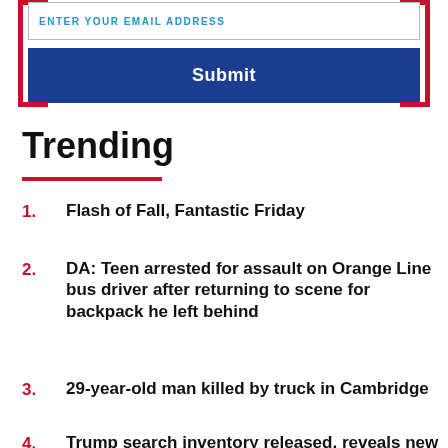ENTER YOUR EMAIL ADDRESS
Submit
Trending
1. Flash of Fall, Fantastic Friday
2. DA: Teen arrested for assault on Orange Line bus driver after returning to scene for backpack he left behind
3. 29-year-old man killed by truck in Cambridge
4. Trump search inventory released, reveals new details on docs